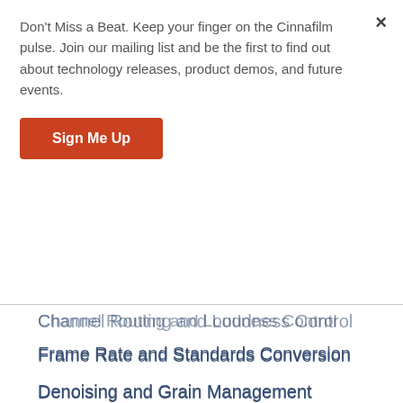Don't Miss a Beat. Keep your finger on the Cinnafilm pulse. Join our mailing list and be the first to find out about technology releases, product demos, and future events.
Sign Me Up
Channel Routing and Loudness Control
Frame Rate and Standards Conversion
Denoising and Grain Management
Dynamic Retiming
Automated HDR Conversions
FAQs
Submit Ticket